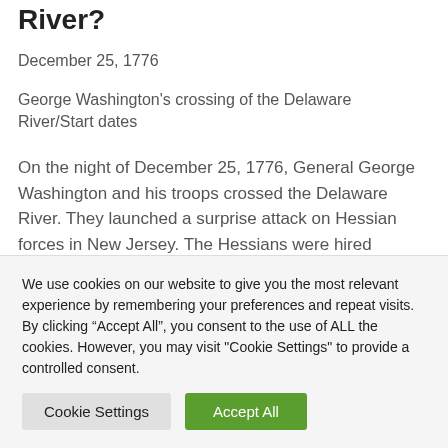River?
December 25, 1776
George Washington's crossing of the Delaware River/Start dates
On the night of December 25, 1776, General George Washington and his troops crossed the Delaware River. They launched a surprise attack on Hessian forces in New Jersey. The Hessians were hired German soldiers who fought for the British. This was a key moment in the
We use cookies on our website to give you the most relevant experience by remembering your preferences and repeat visits. By clicking “Accept All”, you consent to the use of ALL the cookies. However, you may visit "Cookie Settings" to provide a controlled consent.
Cookie Settings | Accept All